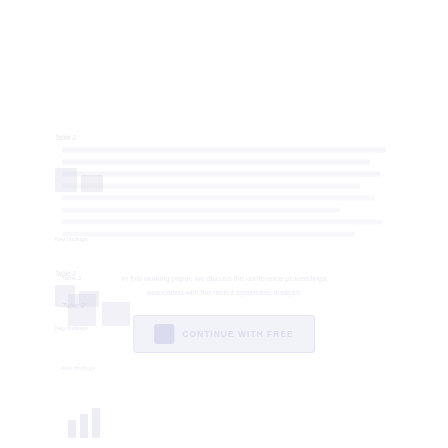[Figure (other): Faint/white-on-white page with barely visible content including a small bar chart area, labels, text lines, and a bottom banner button. Content is extremely low contrast against white background.]